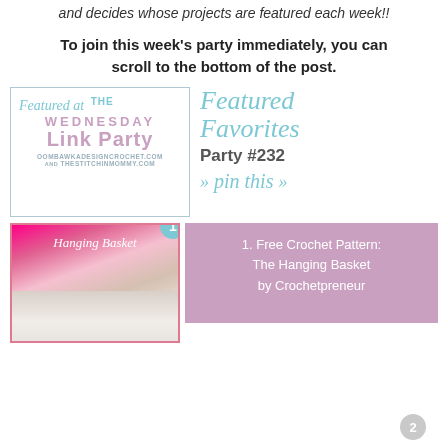and decides whose projects are featured each week!!
To join this week's party immediately, you can scroll to the bottom of the post.
[Figure (logo): Featured at The Wednesday Link Party badge with oombawkadesigncrochet.com and thestitchinmommy.com URLs]
[Figure (illustration): Featured Favorites Party #232 >> pin this >> graphic with teal script font]
[Figure (photo): Hanging Basket Free Crochet Pattern thumbnail image labeled #1]
1. Free Crochet Pattern: The Hanging Basket by Crochetpreneur